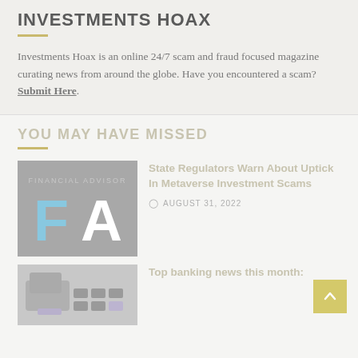INVESTMENTS HOAX
Investments Hoax is an online 24/7 scam and fraud focused magazine curating news from around the globe. Have you encountered a scam? Submit Here.
YOU MAY HAVE MISSED
[Figure (logo): Financial Advisor FA logo — gray background with light blue letter F and white letter A, text 'FINANCIAL ADVISOR' above]
State Regulators Warn About Uptick In Metaverse Investment Scams
AUGUST 31, 2022
[Figure (photo): Close-up photo of a keyboard or banking card, gray tones]
Top banking news this month: